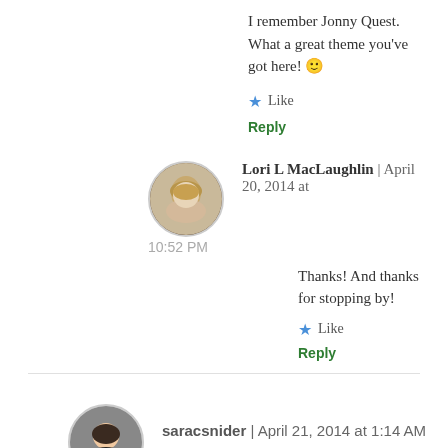I remember Jonny Quest. What a great theme you've got here! 🙂
Like
Reply
Lori L MacLaughlin | April 20, 2014 at 10:52 PM
Thanks! And thanks for stopping by!
Like
Reply
saracsnider | April 21, 2014 at 1:14 AM
Oh my, I had completely forgotten about that show.